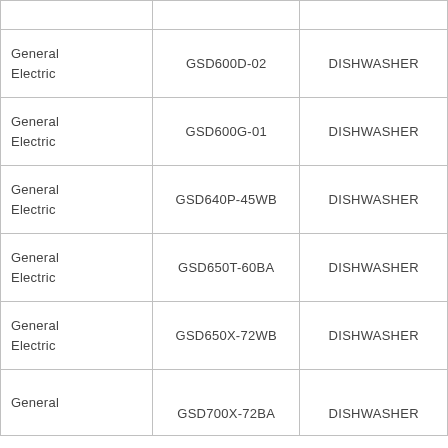|  |  |  |
| --- | --- | --- |
| General Electric | GSD600D-02 | DISHWASHER |
| General Electric | GSD600G-01 | DISHWASHER |
| General Electric | GSD640P-45WB | DISHWASHER |
| General Electric | GSD650T-60BA | DISHWASHER |
| General Electric | GSD650X-72WB | DISHWASHER |
| General | GSD700X-72BA | DISHWASHER |